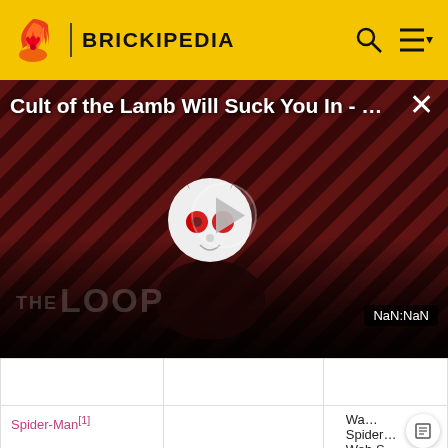BRICKIPEDIA
[Figure (screenshot): Video player overlay showing 'Cult of the Lamb Will Suck You In - ...' with play button, diagonal red/dark stripes background, THE LOOP watermark, NaN:NaN timestamp, and X close button]
|  |  |  |
| --- | --- | --- |
|  |  |  |
| Spider-Man[1] |  | Wa… • Spider… • Web S… • Pull Ob… • Webs… |